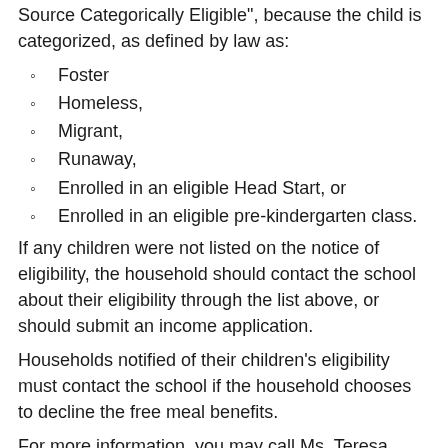Source Categorically Eligible", because the child is categorized, as defined by law as:
Foster
Homeless,
Migrant,
Runaway,
Enrolled in an eligible Head Start, or
Enrolled in an eligible pre-kindergarten class.
If any children were not listed on the notice of eligibility, the household should contact the school about their eligibility through the list above, or should submit an income application.
Households notified of their children’s eligibility must contact the school if the household chooses to decline the free meal benefits.
For more information, you may call Ms. Teresa Gonzales